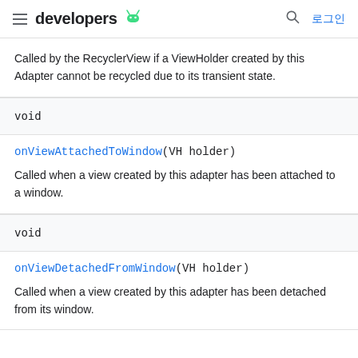developers
Called by the RecyclerView if a ViewHolder created by this Adapter cannot be recycled due to its transient state.
void
onViewAttachedToWindow(VH holder)
Called when a view created by this adapter has been attached to a window.
void
onViewDetachedFromWindow(VH holder)
Called when a view created by this adapter has been detached from its window.